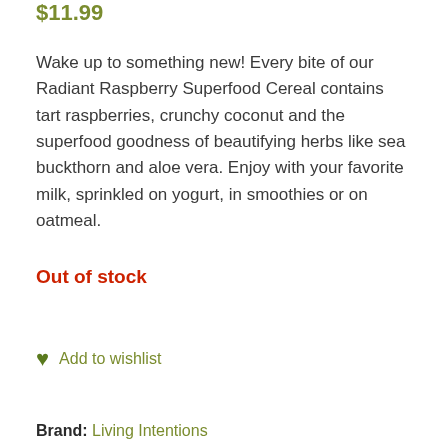$11.99
Wake up to something new! Every bite of our Radiant Raspberry Superfood Cereal contains tart raspberries, crunchy coconut and the superfood goodness of beautifying herbs like sea buckthorn and aloe vera. Enjoy with your favorite milk, sprinkled on yogurt, in smoothies or on oatmeal.
Out of stock
Add to wishlist
Brand: Living Intentions